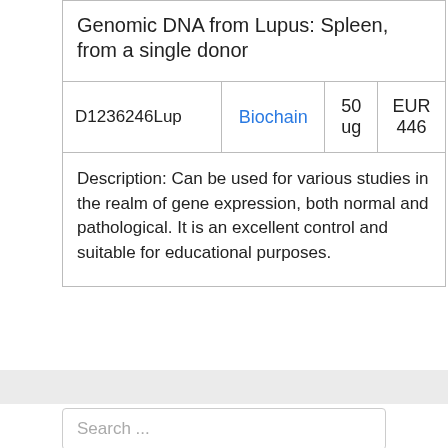| Product | Supplier | Quantity | Price |
| --- | --- | --- | --- |
| Genomic DNA from Lupus: Spleen, from a single donor |  |  |  |
| D1236246Lup | Biochain | 50 ug | EUR 446 |
| Description: Can be used for various studies in the realm of gene expression, both normal and pathological. It is an excellent control and suitable for educational purposes. |  |  |  |
Search ...